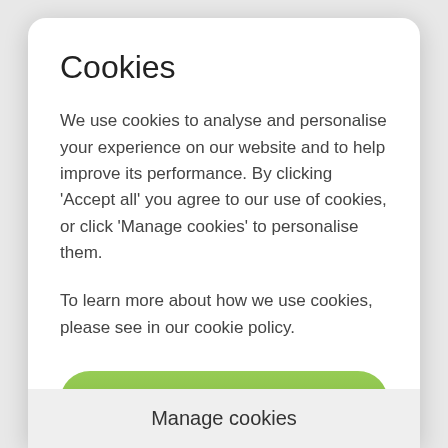Cookies
We use cookies to analyse and personalise your experience on our website and to help improve its performance. By clicking ‘Accept all’ you agree to our use of cookies, or click ‘Manage cookies’ to personalise them.
To learn more about how we use cookies, please see in our cookie policy.
Accept All
Manage cookies